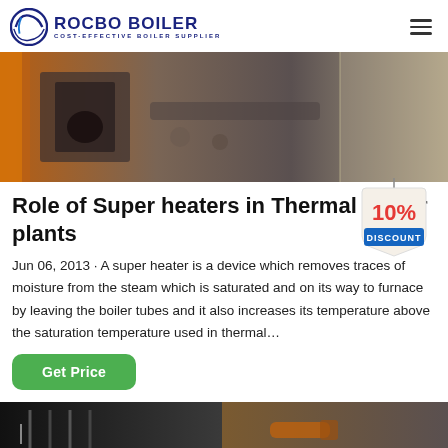ROCBO BOILER - COST-EFFECTIVE BOILER SUPPLIER
[Figure (photo): Industrial boiler equipment photo showing orange-painted metal frame components and metallic boiler surfaces]
Role of Super heaters in Thermal power plants
[Figure (illustration): 10% DISCOUNT promotional badge/tag graphic]
Jun 06, 2013 · A super heater is a device which removes traces of moisture from the steam which is saturated and on its way to furnace by leaving the boiler tubes and it also increases its temperature above the saturation temperature used in thermal…
Get Price
[Figure (photo): Two industrial boiler installation photos side by side at bottom of page]